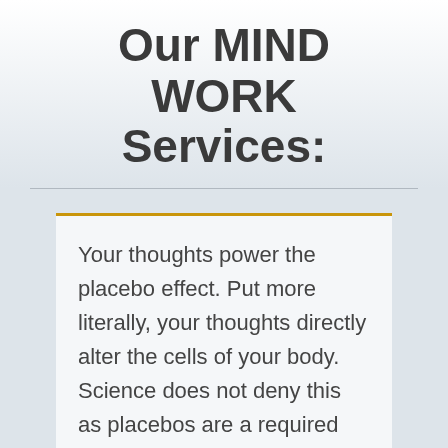Our MIND WORK Services:
Your thoughts power the placebo effect. Put more literally, your thoughts directly alter the cells of your body. Science does not deny this as placebos are a required inclusion in drug studies. The power of your mind is not only extraordinary, it is proven. And